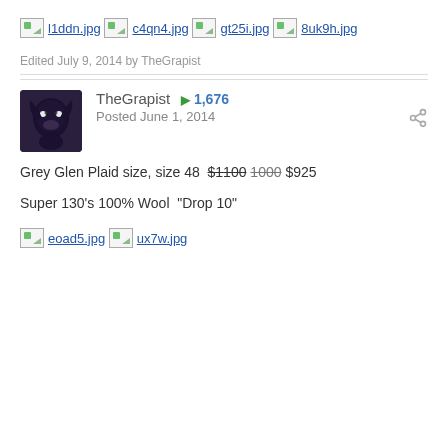l1ddn.jpg
c4qn4.jpg
gt25i.jpg
8uk9h.jpg
Edited July 9, 2014 by TheGrapist
TheGrapist  +1,676  Posted June 1, 2014
Grey Glen Plaid size, size 48  $1100  1000  $925
Super 130's 100% Wool  "Drop 10"
eoad5.jpg
ux7w.jpg